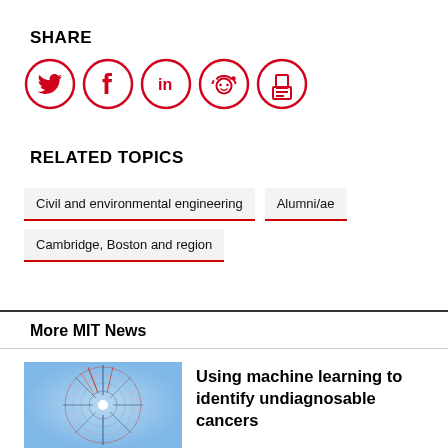SHARE
[Figure (other): Social share icons: Twitter, Facebook, LinkedIn, Reddit, Print — each as a red circle with white icon]
RELATED TOPICS
Civil and environmental engineering
Alumni/ae
Cambridge, Boston and region
More MIT News
[Figure (photo): Circular spiral graphic with colorful lines on a light blue background]
Using machine learning to identify undiagnosable cancers